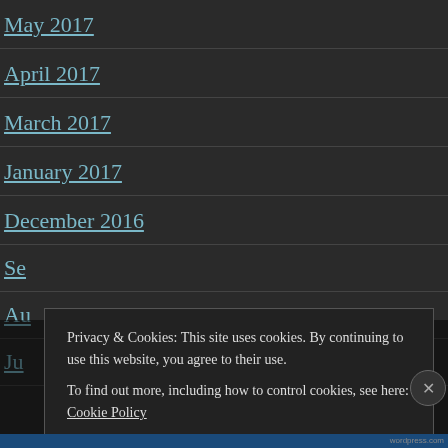May 2017
April 2017
March 2017
January 2017
December 2016
Se...
Au...
Ju...
Privacy & Cookies: This site uses cookies. By continuing to use this website, you agree to their use. To find out more, including how to control cookies, see here: Cookie Policy
Close and accept